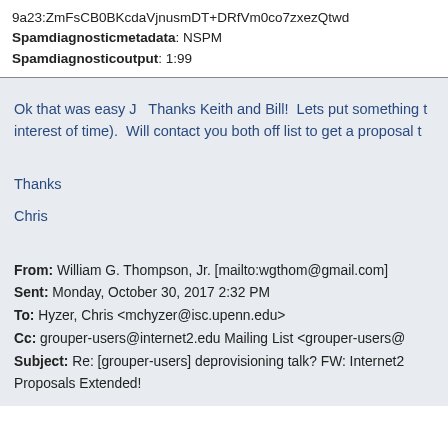9a23:ZmFsCB0BKcdaVjnusmDT+DRfVm0co7zxezQtwd
Spamdiagnosticmetadata: NSPM
Spamdiagnosticoutput: 1:99
Ok that was easy J   Thanks Keith and Bill!  Lets put something t...interest of time).  Will contact you both off list to get a proposal t...
Thanks
Chris
From: William G. Thompson, Jr. [mailto:wgthom@gmail.com]
Sent: Monday, October 30, 2017 2:32 PM
To: Hyzer, Chris <mchyzer@isc.upenn.edu>
Cc: grouper-users@internet2.edu Mailing List <grouper-users@...
Subject: Re: [grouper-users] deprovisioning talk? FW: Internet2...Proposals Extended!